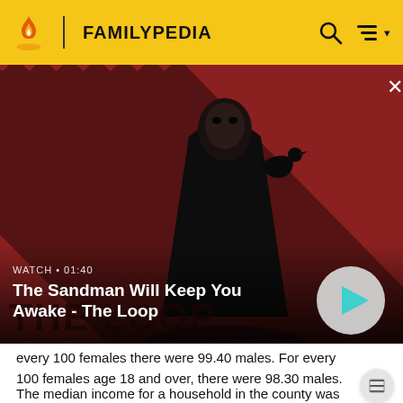FAMILYPEDIA
[Figure (screenshot): Video thumbnail for 'The Sandman Will Keep You Awake - The Loop' showing a dark-cloaked figure with a raven on striped red/dark background. WATCH • 01:40 label and play button visible.]
every 100 females there were 99.40 males. For every 100 females age 18 and over, there were 98.30 males.
The median income for a household in the county was $36,061, and the median income for a family was $40,185. Males had a median income of $30,071 versus $21,077 for